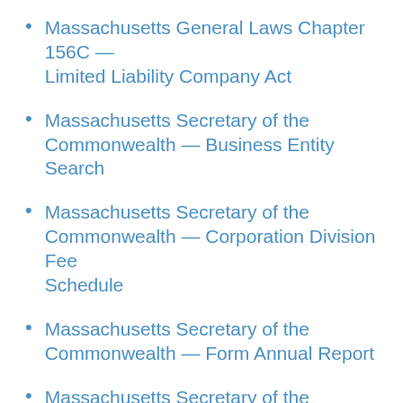Massachusetts General Laws Chapter 156C — Limited Liability Company Act
Massachusetts Secretary of the Commonwealth — Business Entity Search
Massachusetts Secretary of the Commonwealth — Corporation Division Fee Schedule
Massachusetts Secretary of the Commonwealth — Form Annual Report
Massachusetts Secretary of the Commonwealth — Form Certificate of Organization
Massachusetts Secretary of the